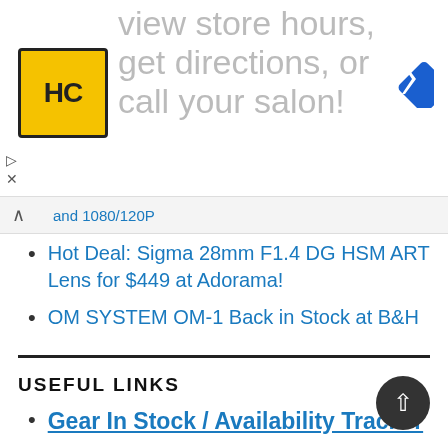[Figure (screenshot): Ad banner showing HC logo in yellow/black square, large grey text 'view store hours, get directions, or call your salon!' and a blue navigation diamond icon on the right. Small play and X controls at lower left.]
and 1080/120P
Hot Deal: Sigma 28mm F1.4 DG HSM ART Lens for $449 at Adorama!
OM SYSTEM OM-1 Back in Stock at B&H
USEFUL LINKS
Gear In Stock / Availability Tracker
Lens Rumors
Canon Rumors